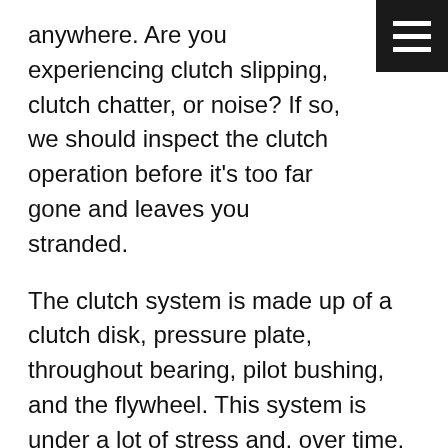anywhere. Are you experiencing clutch slipping, clutch chatter, or noise? If so, we should inspect the clutch operation before it's too far gone and leaves you stranded.
The clutch system is made up of a clutch disk, pressure plate, throughout bearing, pilot bushing, and the flywheel. This system is under a lot of stress and, over time, will wear out. Clutch repair or replacement usually involves removing the manual transmission. This is not an operation that should be conducted at home or by the faint of heart. You should choose an experienced technician who has the proper tools, equipment, and "know how" to do it right the first time. This is not a job that you want to